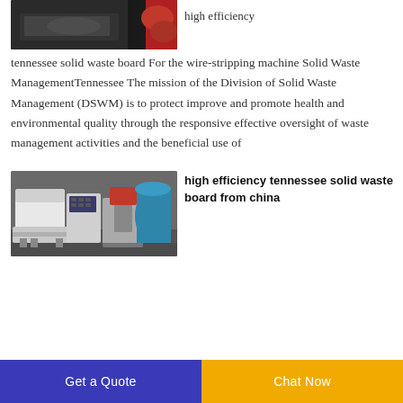[Figure (photo): Close-up photo of machinery with red and black parts, possibly a wire-stripping or industrial machine component]
high efficiency tennessee solid waste board For the wire-stripping machine Solid Waste ManagementTennessee The mission of the Division of Solid Waste Management (DSWM) is to protect improve and promote health and environmental quality through the responsive effective oversight of waste management activities and the beneficial use of
[Figure (photo): Industrial machines in a warehouse setting, showing large white and grey equipment including shredders and control panels]
high efficiency tennessee solid waste board from china
high efficiency...
Get a Quote
Chat Now